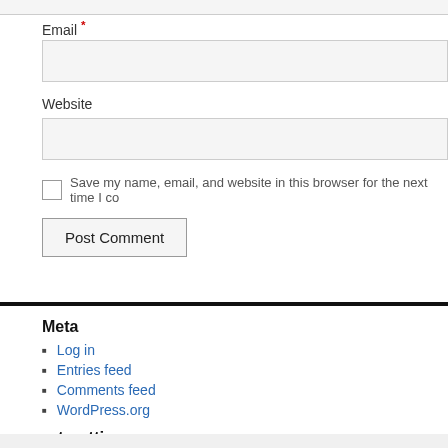Email *
Website
Save my name, email, and website in this browser for the next time I co
Post Comment
Meta
Log in
Entries feed
Comments feed
WordPress.org
arts-attic.com